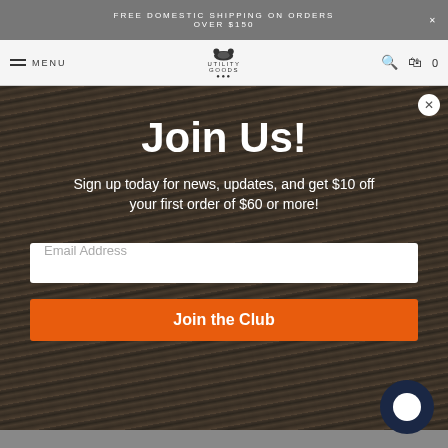FREE DOMESTIC SHIPPING ON ORDERS OVER $150
[Figure (screenshot): Navigation bar with hamburger menu icon, MENU text, Utility Goods bear logo, search icon, and cart icon with 0 count]
[Figure (screenshot): Modal popup with wood log background showing 'Join Us!' heading, signup text, email input field, and orange Join the Club button]
Join Us!
Sign up today for news, updates, and get $10 off your first order of $60 or more!
Email Address
Join the Club